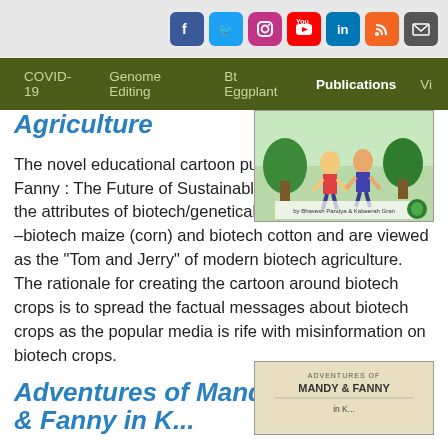Social icons: Facebook, Twitter, Instagram, YouTube, LinkedIn, RSS, Email
Navigation: COVID-19 | Genome Editing | Bt Eggplant | Publications | Vi...
Agriculture
[Figure (illustration): Book cover illustration showing cartoon characters walking, for Mandy & Fanny: The Future of Sustainable Agriculture]
The novel educational cartoon publication "Mandy & Fanny : The Future of Sustainable Agriculture" illustrates the attributes of biotech/genetically modified (GM) crops –biotech maize (corn) and biotech cotton and are viewed as the "Tom and Jerry" of modern biotech agriculture. The rationale for creating the cartoon around biotech crops is to spread the factual messages about biotech crops as the popular media is rife with misinformation on biotech crops.
Adventures of Mandy & Fanny in K...
[Figure (illustration): Book cover for Adventures of Mandy & Fanny, beige/tan colored cover with title text]